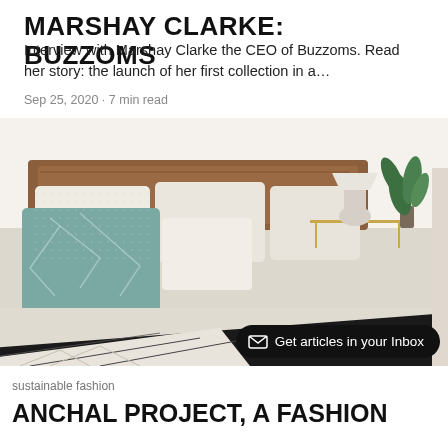MARSHAY CLARKE: BUZZOMS
Interview with Marshay Clarke the CEO of Buzzoms. Read her story: the launch of her first collection in a…
Sep 25, 2020 · 7 min read
[Figure (photo): Bedroom scene with a made bed featuring white and black/navy quilted bedding, white and teal decorative pillows, a wooden headboard, a white lamp on a gold side table, and green plants in the background.]
⊠ Get articles in your Inbox
sustainable fashion
ANCHAL PROJECT, A FASHION